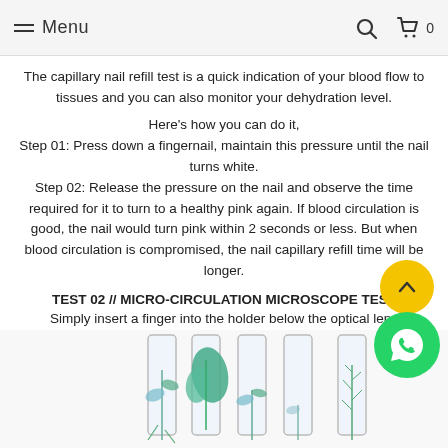Menu  🔍  🛒 0
The capillary nail refill test is a quick indication of your blood flow to tissues and you can also monitor your dehydration level.
Here's how you can do it,
Step 01: Press down a fingernail, maintain this pressure until the nail turns white.
Step 02: Release the pressure on the nail and observe the time required for it to turn to a healthy pink again. If blood circulation is good, the nail would turn pink within 2 seconds or less. But when blood circulation is compromised, the nail capillary refill time will be longer.
TEST 02 // MICRO-CIRCULATION MICROSCOPE TEST
Simply insert a finger into the holder below the optical lens apparatus, adjust to fix the focal length to visualise the blood capillary shape, blood flow pattern and capillary morpho...
[Figure (photo): Row of glass test tubes containing various plant specimens/herbs against a white background]